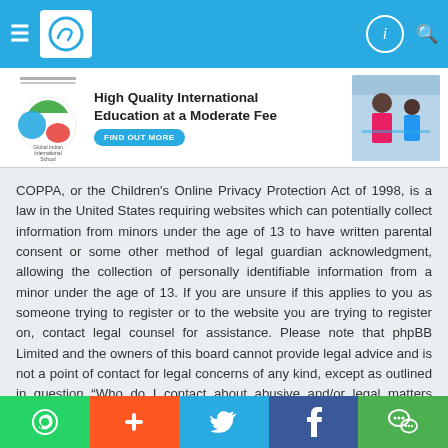Navigation bar with hamburger menu, logo, and search/info icons
[Figure (infographic): Advertisement banner for Global Indian International School: High Quality International Education at a Moderate Fee, with FIND OUT MORE button]
COPPA, or the Children's Online Privacy Protection Act of 1998, is a law in the United States requiring websites which can potentially collect information from minors under the age of 13 to have written parental consent or some other method of legal guardian acknowledgment, allowing the collection of personally identifiable information from a minor under the age of 13. If you are unsure if this applies to you as someone trying to register or to the website you are trying to register on, contact legal counsel for assistance. Please note that phpBB Limited and the owners of this board cannot provide legal advice and is not a point of contact for legal concerns of any kind, except as outlined in question “Who do I contact about abusive and/or legal matters related to this board?”.
Top
Share bar with WhatsApp, Plus, Twitter, Facebook, WeChat buttons